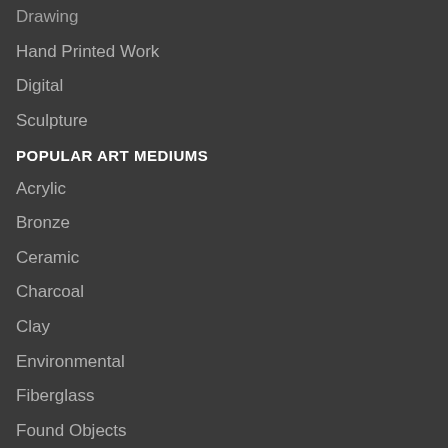Drawing
Hand Printed Work
Digital
Sculpture
POPULAR ART MEDIUMS
Acrylic
Bronze
Ceramic
Charcoal
Clay
Environmental
Fiberglass
Found Objects
Glass
Gouache
Granite
Light
Marble
Metal